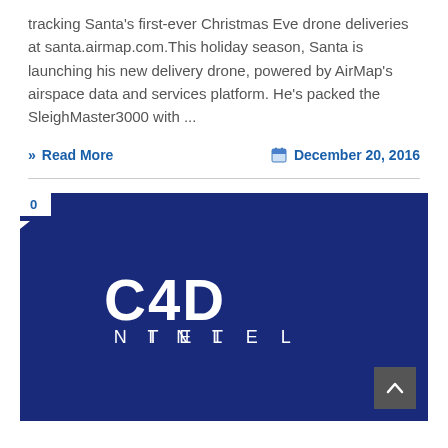tracking Santa's first-ever Christmas Eve drone deliveries at santa.airmap.com.This holiday season, Santa is launching his new delivery drone, powered by AirMap's airspace data and services platform. He's packed the SleighMaster3000 with ...
Read More
December 20, 2016
[Figure (logo): C4D INTEL logo in white text on dark navy blue background, with stylized lettering]